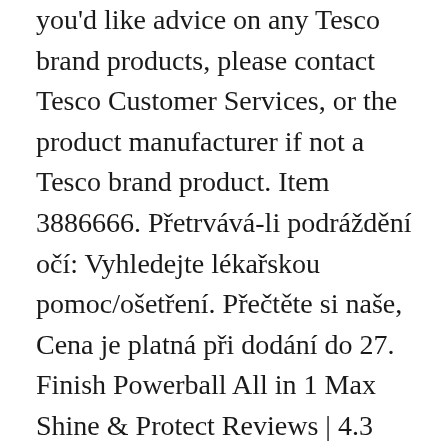you'd like advice on any Tesco brand products, please contact Tesco Customer Services, or the product manufacturer if not a Tesco brand product. Item 3886666. Přetrvává-li podráždění očí: Vyhledejte lékařskou pomoc/ošetření. Přečtěte si naše, Cena je platná při dodání do 27. Finish Powerball All in 1 Max Shine & Protect Reviews | 4.3 out of 5 | Join Home Tester Club for free product tests and 1,000s of product reviews. Tackles whatever you throw at it. Pokračujte ve vyplachování. Free Shipping, Cash on Delivery Available. Finish All In 1 dishwasher detergent tablets give you an amazing clean and shine, which means you will never have to re-wash your dishes again. Finish All in One Max Dishwasher Tablets Finish All in